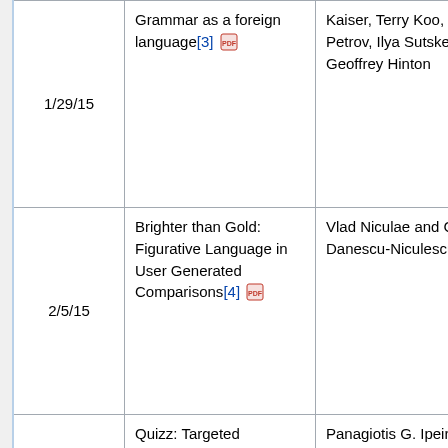|  | Date | Title | Authors |
| --- | --- | --- | --- |
|  | 1/29/15 | Grammar as a foreign language[3] [pdf] | Kaiser, Terry Koo, Slav Petrov, Ilya Sutskever, Geoffrey Hinton |
|  | 2/5/15 | Brighter than Gold: Figurative Language in User Generated Comparisons[4] [pdf] | Vlad Niculae and Cristian Danescu-Niculescu-Mizil |
|  | 2/12/15 | Quizz: Targeted Crowdsourcing with a Billion (Potential) Users[5] [pdf] | Panagiotis G. Ipeirotis and Evgeniy Gabrilovich |